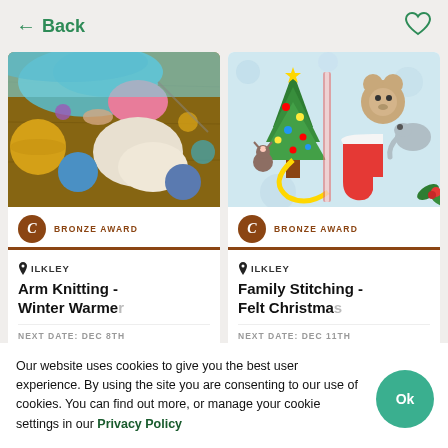← Back
[Figure (photo): Photo of colorful yarn balls and knitting materials on a wooden surface]
BRONZE AWARD
ILKLEY
Arm Knitting - Winter Warmer
NEXT DATE: DEC 8TH
[Figure (photo): Photo of felt Christmas ornaments including a Christmas tree, animals, and decorations]
BRONZE AWARD
ILKLEY
Family Stitching - Felt Christmas
NEXT DATE: DEC 11TH
Our website uses cookies to give you the best user experience. By using the site you are consenting to our use of cookies. You can find out more, or manage your cookie settings in our Privacy Policy